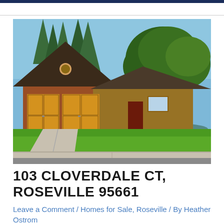[Figure (photo): Exterior photo of a single-story ranch-style home with wood and brick facade, two-car garage with wood panel doors, green lawn, large oak tree, and tall evergreen trees in background. Blue sky visible.]
103 CLOVERDALE CT, ROSEVILLE 95661
Leave a Comment / Homes for Sale, Roseville / By Heather Ostrom